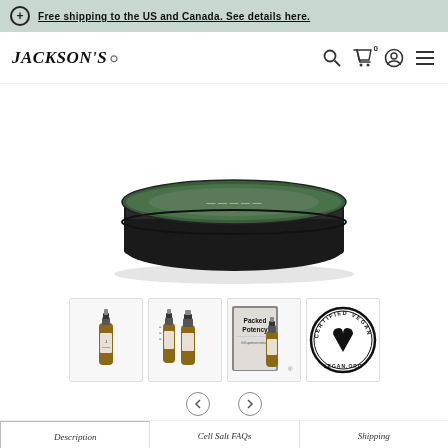Free shipping to the US and Canada. See details here.
[Figure (logo): Jackson's brand logo in italic serif font]
[Figure (photo): Main product image: circular dark tin/container with green lid viewed from slight angle above]
[Figure (photo): Thumbnail 1: single brown glass dropper bottle with label]
[Figure (photo): Thumbnail 2: two brown glass dropper bottles side by side with labels]
[Figure (photo): Thumbnail 3: product with 'Packed Potency' text on packaging card next to bottle]
[Figure (logo): Certified Vegan stamp/seal logo - circular badge with V heart symbol and text CERTIFIED VEGAN VEGAN.ORG]
Description
Cell Salt FAQs
Shipping